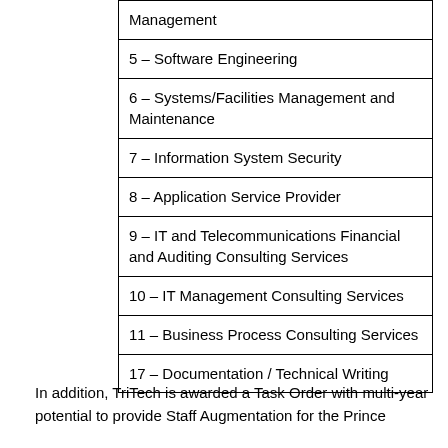| Management |
| 5 – Software Engineering |
| 6 – Systems/Facilities Management and Maintenance |
| 7 – Information System Security |
| 8 – Application Service Provider |
| 9 – IT and Telecommunications Financial and Auditing Consulting Services |
| 10 – IT Management Consulting Services |
| 11 – Business Process Consulting Services |
| 17 – Documentation / Technical Writing |
In addition, TriTech is awarded a Task Order with multi-year potential to provide Staff Augmentation for the Prince